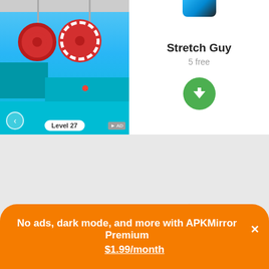[Figure (screenshot): Mobile game ad showing Stretch Guy app. Left side: game screenshot with blue background, red gear obstacles, a small red ball character on a platform, back navigation arrow, Level 27 label, and AD badge. Right side: app icon, title 'Stretch Guy', price '5 free', green download button.]
Stretch Guy
5 free
Remove ads, dark theme, and more with  Premium
No ads, dark mode, and more with APKMirror Premium ×
$1.99/month